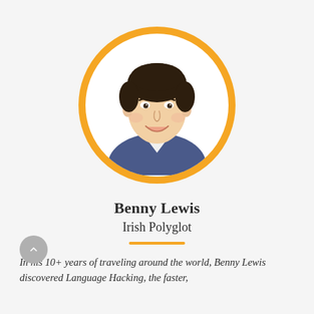[Figure (photo): Circular portrait photo of Benny Lewis, a smiling man with dark hair wearing a blue V-neck t-shirt, framed with a thick orange circular border]
Benny Lewis
Irish Polyglot
In his 10+ years of traveling around the world, Benny Lewis discovered Language Hacking, the faster,